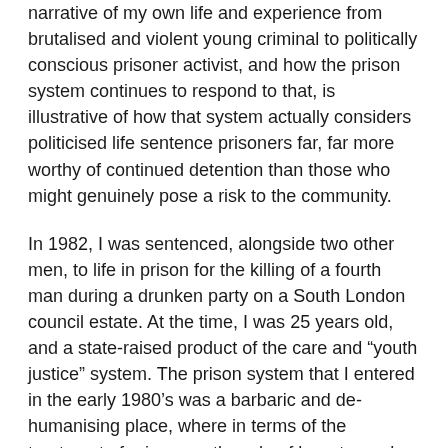narrative of my own life and experience from brutalised and violent young criminal to politically conscious prisoner activist, and how the prison system continues to respond to that, is illustrative of how that system actually considers politicised life sentence prisoners far, far more worthy of continued detention than those who might genuinely pose a risk to the community.
In 1982, I was sentenced, alongside two other men, to life in prison for the killing of a fourth man during a drunken party on a South London council estate. At the time, I was 25 years old, and a state-raised product of the care and “youth justice” system. The prison system that I entered in the early 1980’s was a barbaric and de-humanising place, where in terms of the treatment of prisoners, the rule of law stopped dead at the prison gate. My almost immediate response to prison repression was one of total defiance